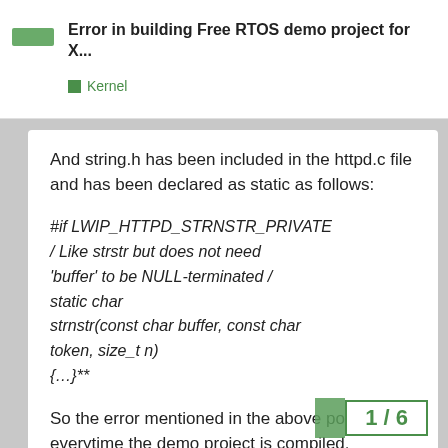Error in building Free RTOS demo project for X...
Kernel
And string.h has been included in the httpd.c file and has been declared as static as follows:
#if LWIP_HTTPD_STRNSTR_PRIVATE
/ Like strstr but does not need 'buffer' to be NULL-terminated /
static char
strnstr(const char buffer, const char token, size_t n)
{…}**
So the error mentioned in the above post occurs everytime the demo project is compiled.
So what exactly should be avoid the error?
1 / 6